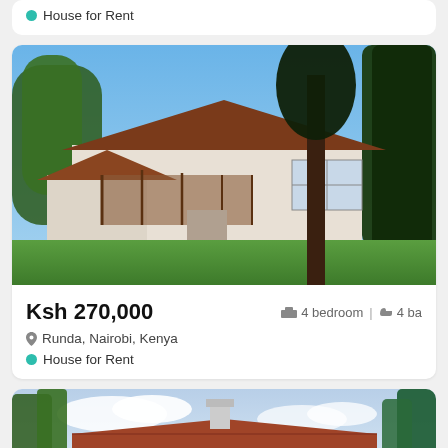House for Rent
[Figure (photo): Exterior photo of a 4-bedroom house in Runda, Nairobi, Kenya — two-storey with wooden beams and large trees]
Ksh 270,000    4 bedroom | 4 ba
Runda, Nairobi, Kenya
House for Rent
[Figure (photo): Exterior photo of a house with a red-tiled roof surrounded by tall trees under a partly cloudy sky]